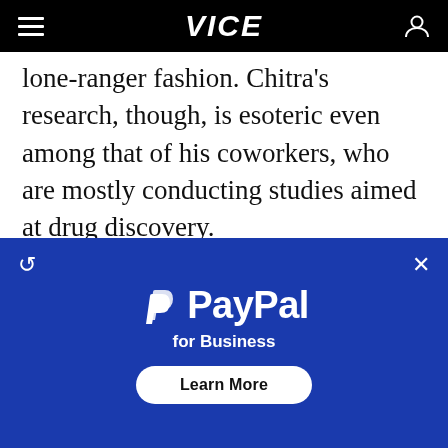VICE
lone-ranger fashion. Chitra's research, though, is esoteric even among that of his coworkers, who are mostly conducting studies aimed at drug discovery.
"The deepest and most interesting unsolved problem in solid state theory is probably the theory of the nature of glass and the glass transition." - P. W. Anderson, Nobel Laureate
[Figure (screenshot): PayPal for Business advertisement overlay with PayPal logo, tagline 'for Business', and a 'Learn More' button on a blue background.]